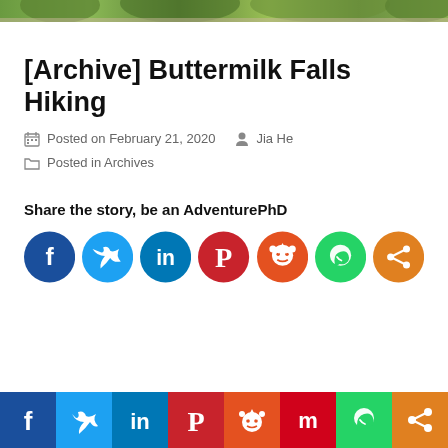[Figure (photo): Partial photo of Buttermilk Falls hiking area, showing green trees and natural scenery — top strip only]
[Archive] Buttermilk Falls Hiking
Posted on February 21, 2020   Jia He
Posted in Archives
Share the story, be an AdventurePhD
[Figure (infographic): Row of 7 social media share icon circles: Facebook (dark blue), Twitter (light blue), LinkedIn (blue), Pinterest (red), Reddit (orange-red), WhatsApp (green), Share (orange)]
[Figure (infographic): Bottom bar with 8 social media icons: Facebook, Twitter, LinkedIn, Pinterest, Reddit, Mix, WhatsApp, Share — each in their brand color]